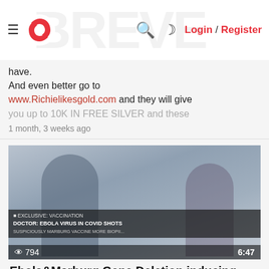≡ [logo] 🔍 ☽ Login / Register
have.
And even better go to www.Richielikesgold.com and they will give you up to 10K IN FREE SILVER and these
1 month, 3 weeks ago
[Figure (screenshot): Video thumbnail showing two news anchors (male and female) with a chyron reading 'DOCTOR: EBOLA VIRUS IN COVID SHOTS' and view count 794 with duration 6:47]
Ebola&Marburg Gene Deletion inducing AIDS Cancer in the J&J Jab PATENT Jan 2022
PPOV777
Thanks to Stew Peters and Dr Ariyana Love!